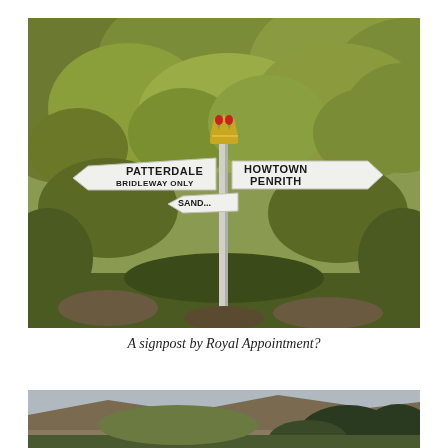[Figure (photo): Outdoor photograph of a traditional white directional signpost with a decorative royal crown on top. Left arm reads 'PATTERDALE BRIDLEWAY ONLY', right arm reads 'HOWTOWN PENRITH', and a lower arm partially visible reads 'SAND...' The background is dense autumn foliage with golden-green and brown oak leaves and dark tree branches.]
A signpost by Royal Appointment?
[Figure (photo): Partial outdoor photograph showing a hillside landscape with moorland, trees, and a valley scene, cut off at the bottom of the page.]